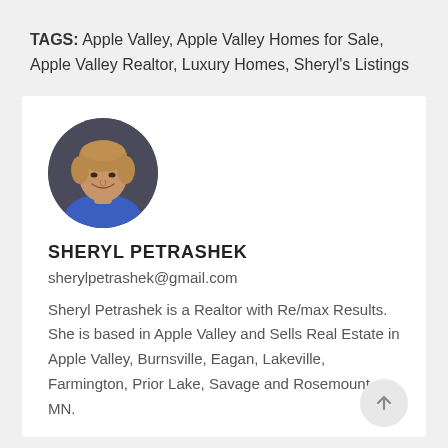TAGS: Apple Valley, Apple Valley Homes for Sale, Apple Valley Realtor, Luxury Homes, Sheryl's Listings
[Figure (photo): Circular profile photo of Sheryl Petrashek, a woman with short blonde/brown hair wearing a blue shirt, smiling, against a dark background.]
SHERYL PETRASHEK
sherylpetrashek@gmail.com
Sheryl Petrashek is a Realtor with Re/max Results. She is based in Apple Valley and Sells Real Estate in Apple Valley, Burnsville, Eagan, Lakeville, Farmington, Prior Lake, Savage and Rosemount MN.